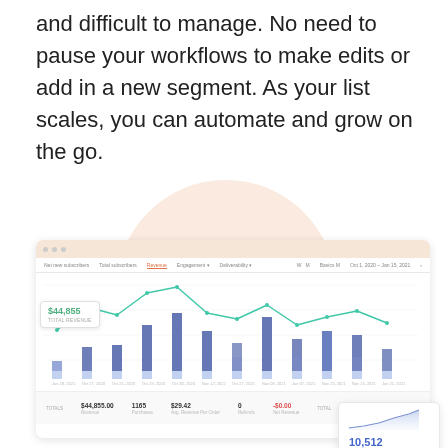and difficult to manage. No need to pause your workflows to make edits or add in a new segment. As your list scales, you can automate and grow on the go.
[Figure (screenshot): Dashboard screenshot showing a bar and line chart with revenue metrics. Tooltip shows $44,855 total revenue. Footer shows totals: $44,855.00, 1165, $29.42, 0, -$0.00, $0.00. A corner card shows 10,512 total subscribers with a small area chart.]